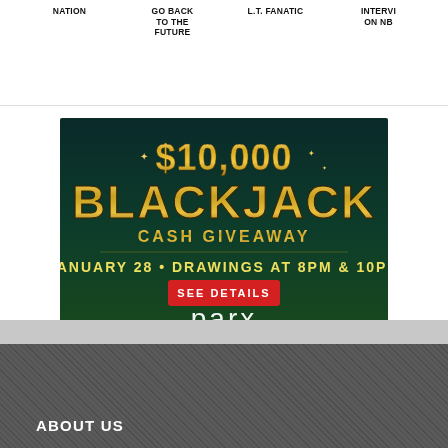NATION | GO BACK TO THE FUTURE | L.T. FANATIC | INTERVI ON NB
[Figure (photo): Parx Casino $10,000 BlackJack Cash Giveaway advertisement. Dark green/teal background with gold text '$10,000 BLACKJACK CASH GIVEAWAY'. Text: 'JANUARY 28 • DRAWINGS AT 8PM & 10PM'. Red button: 'SEE DETAILS'. Parx Casino logo in white. Bottom text: 'GAMBLING PROBLEM? CALL 1.800.GAMBLER']
ABOUT US